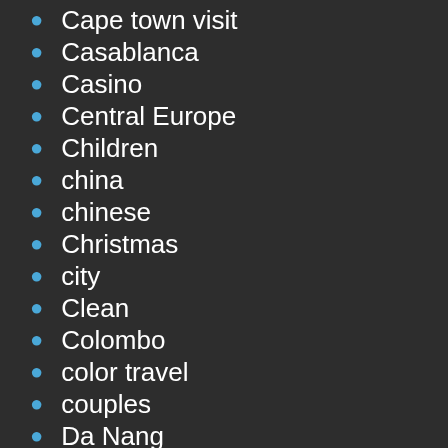Cape town visit
Casablanca
Casino
Central Europe
Children
china
chinese
Christmas
city
Clean
Colombo
color travel
couples
Da Nang
Day out